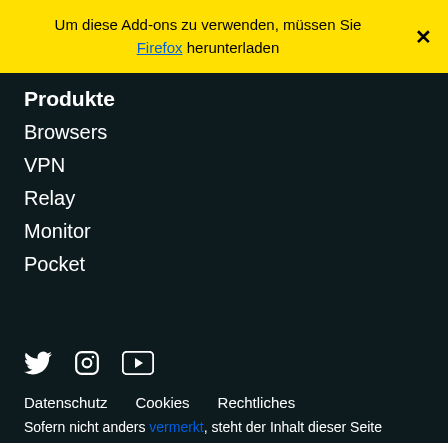Um diese Add-ons zu verwenden, müssen Sie Firefox herunterladen
Produkte
Browsers
VPN
Relay
Monitor
Pocket
[Figure (infographic): Social media icons: Twitter bird, Instagram camera outline, YouTube play button]
Datenschutz   Cookies   Rechtliches
Sofern nicht anders vermerkt, steht der Inhalt dieser Seite